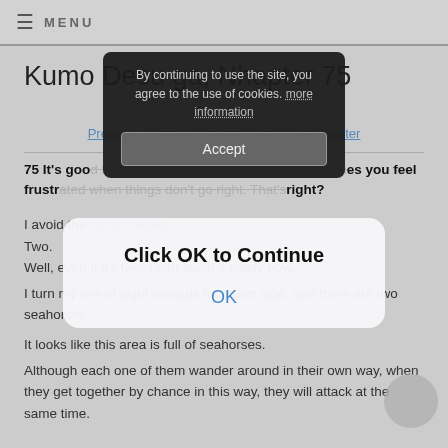≡ MENU
Kumo Desu ga, Nani ka? Chapter 75
Previous Chapter | Project Page | Next Chapter
75 It's good to do my part by myself, but there are times you feel frustrated when things don't go right. That's right?
I avoid the flying fireball.
Two.
Well, even if it's two, I can avoid it easily now.
I turn my line of sight towards the other side, and there are two seahorses.
It looks like this area is full of seahorses.
Although each one of them wander around in their own way, when they get together by chance in this way, they will attack at the same time.
[Figure (screenshot): Cookie consent banner overlay with dark background showing: 'By continuing to use the site, you agree to the use of cookies. more information' and an Accept button]
[Figure (screenshot): Browser dialog overlay on white/light background with bold text 'Click OK to Continue' and a blue 'OK' button]